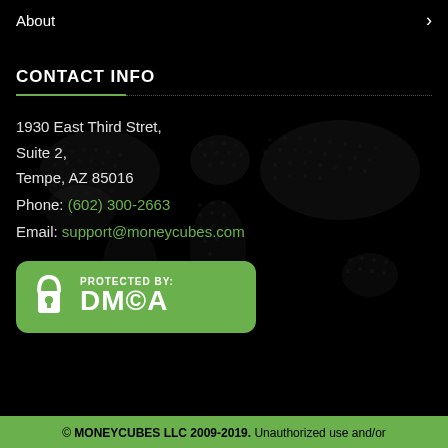About
CONTACT INFO
1930 East Third Stret,
Suite 2,
Tempe, AZ 85016
Phone: (602) 300-2663
Email: support@moneycubes.com
[Figure (logo): DMCA Protected By badge in green with lock icon]
© MONEYCUBES LLC 2009-2019. Unauthorized use and/or